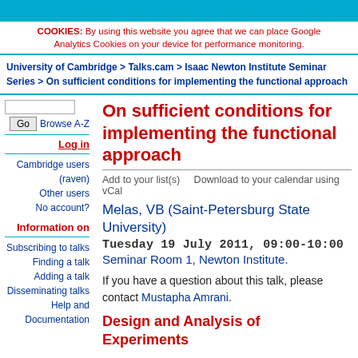COOKIES: By using this website you agree that we can place Google Analytics Cookies on your device for performance monitoring.
University of Cambridge > Talks.cam > Isaac Newton Institute Seminar Series > On sufficient conditions for implementing the functional approach
On sufficient conditions for implementing the functional approach
Add to your list(s)    Download to your calendar using vCal
Melas, VB (Saint-Petersburg State University)
Tuesday 19 July 2011, 09:00-10:00
Seminar Room 1, Newton Institute.
If you have a question about this talk, please contact Mustapha Amrani.
Design and Analysis of Experiments
Log in
Cambridge users (raven)
Other users
No account?
Information on
Subscribing to talks
Finding a talk
Adding a talk
Disseminating talks
Help and Documentation